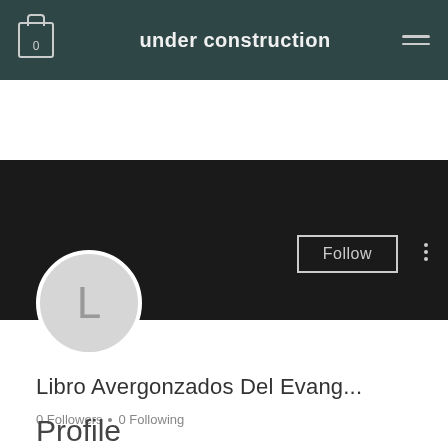under construction
[Figure (screenshot): User profile page with dark header/cover, circular avatar with letter L, username Libro Avergonzados Del Evang..., follower stats, page chooser dropdown, and Profile section header]
Libro Avergonzados Del Evang...
0 Followers • 0 Following
Choose a page
Profile